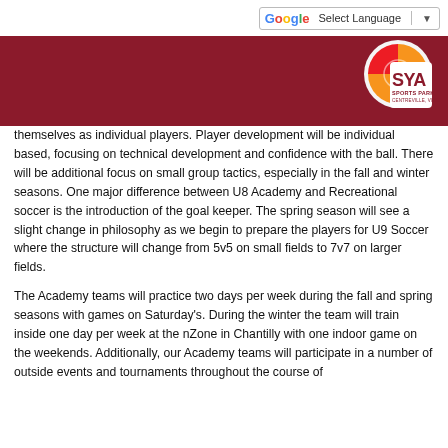Select Language
[Figure (logo): SYA Sports Park Centreville Virginia logo on dark red banner background]
themselves as individual players.  Player development will be individual based, focusing on technical development and confidence with the ball.  There will be additional focus on small group tactics, especially in the fall and winter seasons.  One major difference between U8 Academy and Recreational soccer is the introduction of the goal keeper.  The spring season will see a slight change in philosophy as we begin to prepare the players for U9 Soccer where the structure will change from 5v5 on small fields to 7v7 on larger fields.
The Academy teams will practice two days per week during the fall and spring seasons with games on Saturday's.  During the winter the team will train inside one day per week at the nZone in Chantilly with one indoor game on the weekends.  Additionally, our Academy teams will participate in a number of outside events and tournaments throughout the course of